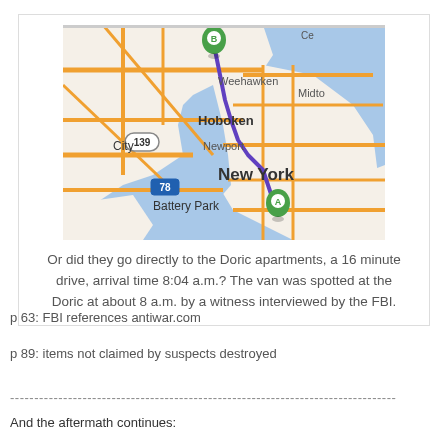[Figure (map): Google Maps style map showing a route from point A (Battery Park area, New York) to point B (Hoboken area), with orange roads, blue water, and a purple/blue route line. Labels include: Hoboken, Newport, New York, Battery Park, Midtown, Weehawken, City, route 139, route 78. Green pin A is near Battery Park, green pin B is in Hoboken.]
Or did they go directly to the Doric apartments, a 16 minute drive, arrival time 8:04 a.m.?  The van was spotted at the Doric at about 8 a.m. by a witness interviewed by the FBI.
p 63: FBI references antiwar.com
p 89:  items not claimed by suspects destroyed
--------------------------------------------------------------------------------
And the aftermath continues: